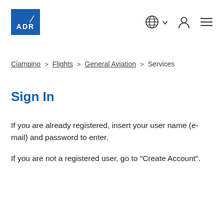[Figure (logo): ADR logo — blue rectangle with white diagonal slash and text 'ADR']
Globe icon with dropdown arrow, person/user icon, hamburger menu icon
Ciampino > Flights > General Aviation > Services
Sign In
If you are already registered, insert your user name (e-mail) and password to enter.
If you are not a registered user, go to "Create Account".